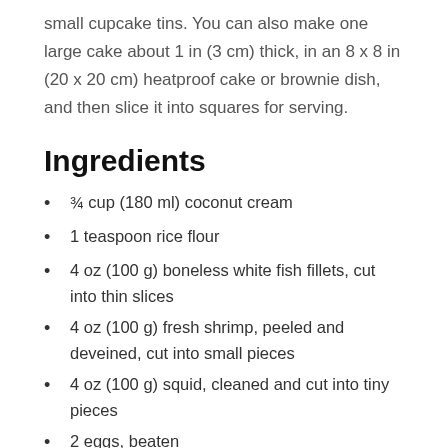small cupcake tins. You can also make one large cake about 1 in (3 cm) thick, in an 8 x 8 in (20 x 20 cm) heatproof cake or brownie dish, and then slice it into squares for serving.
Ingredients
¾ cup (180 ml) coconut cream
1 teaspoon rice flour
4 oz (100 g) boneless white fish fillets, cut into thin slices
4 oz (100 g) fresh shrimp, peeled and deveined, cut into small pieces
4 oz (100 g) squid, cleaned and cut into tiny pieces
2 eggs, beaten